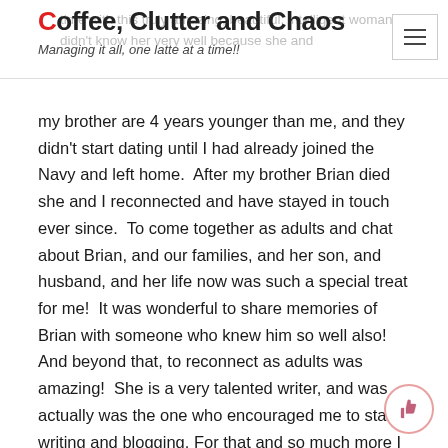Coffee, Clutter and Chaos — Managing it all, one latte at a time!!
time with this truly amazing, beautiful, intelligent woman. I didn't know her very well because she and my brother are 4 years younger than me, and they didn't start dating until I had already joined the Navy and left home. After my brother Brian died she and I reconnected and have stayed in touch ever since. To come together as adults and chat about Brian, and our families, and her son, and husband, and her life now was such a special treat for me! It was wonderful to share memories of Brian with someone who knew him so well also! And beyond that, to reconnect as adults was amazing! She is a very talented writer, and was actually was the one who encouraged me to start writing and blogging. For that and so much more I will be forever grateful to you P!!
After we left Norwalk, we headed back to the hotel to change and go to the reunion of Roger Ludlowe class of 1983!!
As we parked, my heart started to pound a little. We